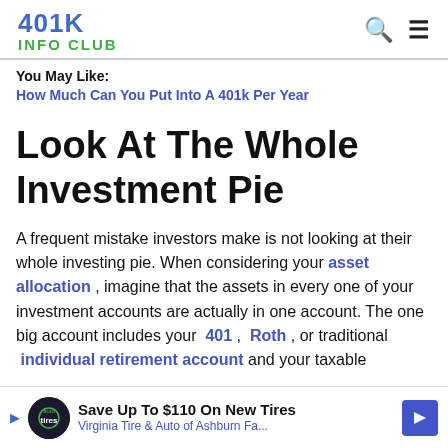401K INFO CLUB
You May Like:
How Much Can You Put Into A 401k Per Year
Look At The Whole Investment Pie
A frequent mistake investors make is not looking at their whole investing pie. When considering your asset allocation , imagine that the assets in every one of your investment accounts are actually in one account. The one big account includes your 401 , Roth , or traditional individual retirement account and your taxable
[Figure (infographic): Advertisement banner: Save Up To $110 On New Tires - Virginia Tire & Auto of Ashburn Fa...]